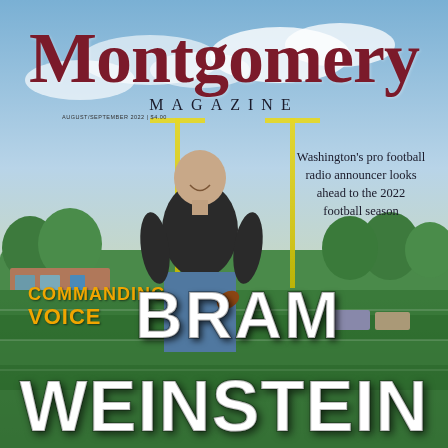[Figure (photo): Magazine cover showing a smiling man in a black polo shirt standing on a football field with goal posts visible in the background and green trees. Background shows cloudy sky.]
Montgomery MAGAZINE
AUGUST/SEPTEMBER 2022 | $4.00
Washington's pro football radio announcer looks ahead to the 2022 football season
COMMANDING VOICE BRAM WEINSTEIN